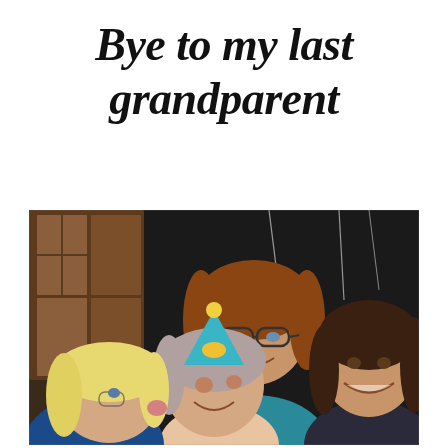Bye to my last grandparent
[Figure (photo): A group photo of four women: an elderly woman wearing a teal party hat in the center-front, being kissed on the cheek by a blonde woman on the left; a smiling young brunette woman on the right; and a middle-aged woman with glasses and reddish-brown hair standing behind them, all in what appears to be a home or restaurant setting.]